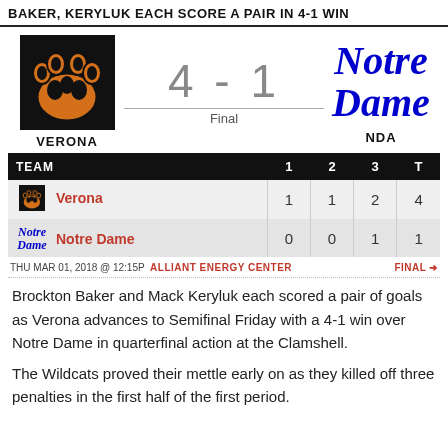BAKER, KERYLUK EACH SCORE A PAIR IN 4-1 WIN
[Figure (logo): Verona Wildcats orange paw logo]
[Figure (logo): Notre Dame script logo in blue]
4 - 1 Final
VERONA
NDA
| TEAM | 1 | 2 | 3 | T |
| --- | --- | --- | --- | --- |
| Verona | 1 | 1 | 2 | 4 |
| Notre Dame | 0 | 0 | 1 | 1 |
THU MAR 01, 2018 @ 12:15P  ALLIANT ENERGY CENTER  FINAL →
Brockton Baker and Mack Keryluk each scored a pair of goals as Verona advances to Semifinal Friday with a 4-1 win over Notre Dame in quarterfinal action at the Clamshell.
The Wildcats proved their mettle early on as they killed off three penalties in the first half of the first period.